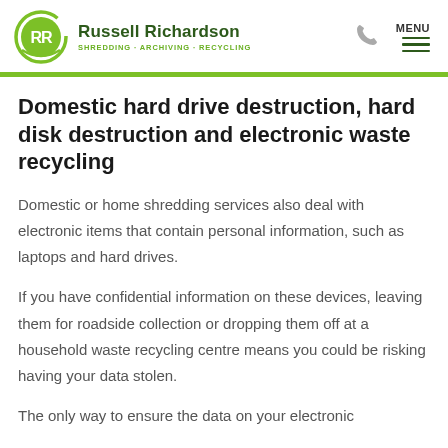[Figure (logo): Russell Richardson logo with green RR circle emblem and company name with tagline SHREDDING - ARCHIVING - RECYCLING]
Domestic hard drive destruction, hard disk destruction and electronic waste recycling
Domestic or home shredding services also deal with electronic items that contain personal information, such as laptops and hard drives.
If you have confidential information on these devices, leaving them for roadside collection or dropping them off at a household waste recycling centre means you could be risking having your data stolen.
The only way to ensure the data on your electronic